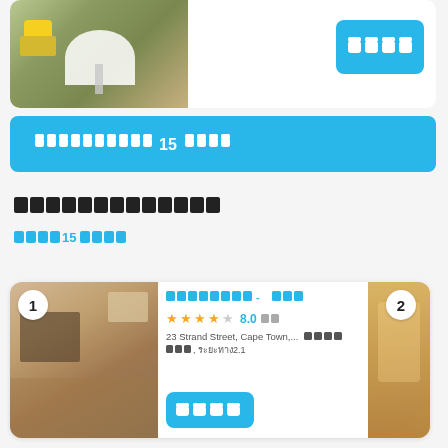[Figure (photo): Hotel room/terrace photo with yellow chair and white table]
[Figure (other): Blue button with seat/room icons]
[Figure (other): Blue banner with Thai text and number 15 and seat icons]
โรงแรมในเคปทาวน์
ดูทั้งหมด15โรงแรม
[Figure (photo): Hotel room interior photo - warm tones, living area]
แกรนด์เวสเทิร์น - โรงแรม
8.0 รีวิว
23 Strand Street, Cape Town,...    สิ่งอำนวยความสะดวก
ต่างๆ, ระยะทาง2.1กม
[Figure (other): Blue book button with room icons]
[Figure (photo): Hotel lobby/corridor interior - warm golden tones, partial view (card 2)]